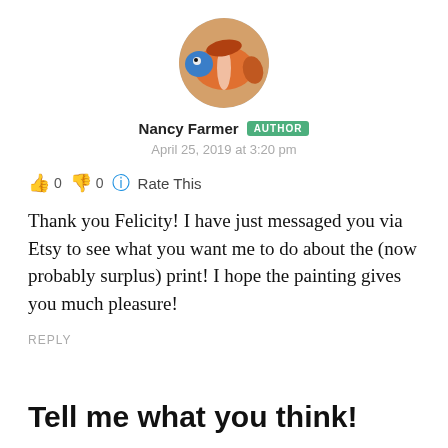[Figure (photo): Circular avatar photo of Nancy Farmer showing a colorful fish (clownfish-like) with orange and blue colors]
Nancy Farmer AUTHOR
April 25, 2019 at 3:20 pm
👍 0 👎 0 🔵 Rate This
Thank you Felicity! I have just messaged you via Etsy to see what you want me to do about the (now probably surplus) print! I hope the painting gives you much pleasure!
REPLY
Tell me what you think!